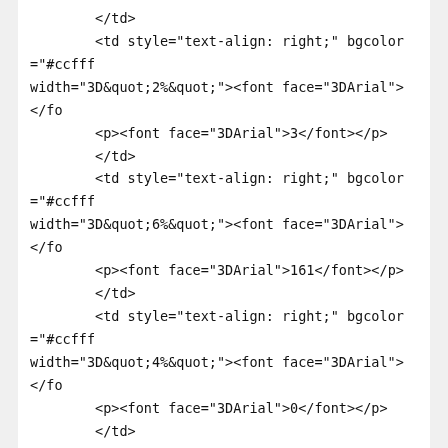</td>
    <td style="text-align: right;" bgcolor="#ccfff width="3D&quot;2%&quot;"><font face="3DArial"> </fo
        <p><font face="3DArial">3</font></p>
        </td>
    <td style="text-align: right;" bgcolor="#ccfff width="3D&quot;6%&quot;"><font face="3DArial"> </fo
        <p><font face="3DArial">161</font></p>
        </td>
    <td style="text-align: right;" bgcolor="#ccfff width="3D&quot;4%&quot;"><font face="3DArial"> </fo
        <p><font face="3DArial">0</font></p>
        </td>
    <td style="text-align: right;" bgcolor="#ccfff width="3D&quot;4%&quot;"><font face="3DArial"> </fo
        <p><font face="3DArial">15</font></p>
        </td>
    <td style="text-align: right;" bgcolor="#ccfff width="3D&quot;4%&quot;"><font face="3DArial"> </fo
        <p><font face="3DArial">16</font></p>
        </td>
    <td style="text-align: right;" bgcolor="#ccfff width="3D&quot;4%&quot;"><font face="3DArial"> </fo
        <p><font face="3DArial">30</font></p>